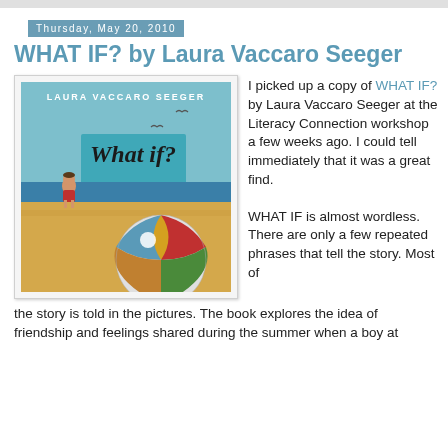Thursday, May 20, 2010
WHAT IF? by Laura Vaccaro Seeger
[Figure (illustration): Book cover of 'What If?' by Laura Vaccaro Seeger. Shows a boy standing on a beach with a large colorful beach ball in the foreground and birds in the sky. Title 'What if?' is written in handwritten script on a teal background.]
I picked up a copy of WHAT IF? by Laura Vaccaro Seeger at the Literacy Connection workshop a few weeks ago. I could tell immediately that it was a great find.
WHAT IF is almost wordless. There are only a few repeated phrases that tell the story. Most of the story is told in the pictures. The book explores the idea of friendship and feelings shared during the summer when a boy at